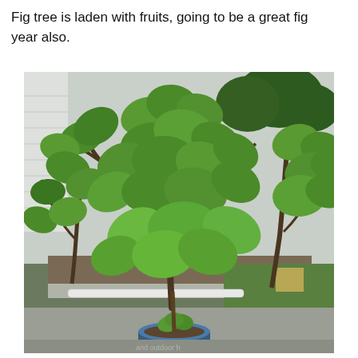Fig tree is laden with fruits, going to be a great fig year also.
[Figure (photo): A fig tree laden with large green leaves growing in a raised garden bed against a white house siding. A smaller fig tree is visible in a blue pot in the foreground. The background shows a green lawn and trees under an overcast sky.]